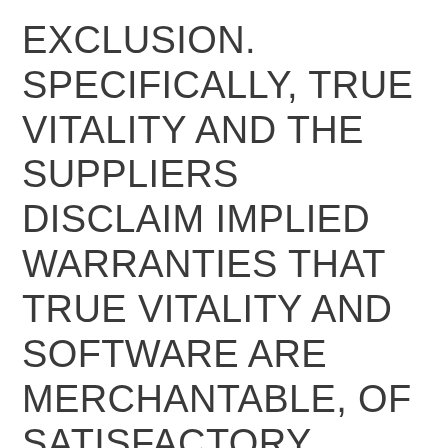EXCLUSION. SPECIFICALLY, TRUE VITALITY AND THE SUPPLIERS DISCLAIM IMPLIED WARRANTIES THAT TRUE VITALITY AND SOFTWARE ARE MERCHANTABLE, OF SATISFACTORY QUALITY, ACCURATE, FIT FOR A PARTICULAR PURPOSE OR NEED, OR NON-INFRINGING. TRUE VITALITY AND THE SUPPLIERS DO NOT WARRANT